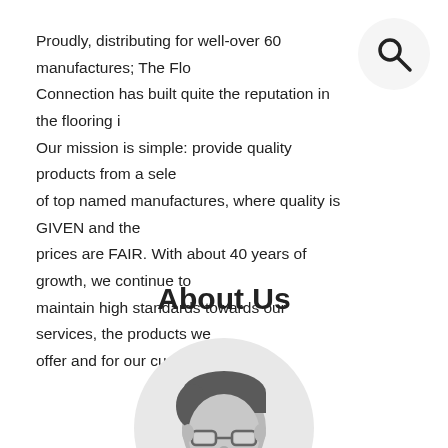Proudly, distributing for well-over 60 manufactures; The Flo Connection has built quite the reputation in the flooring i Our mission is simple: provide quality products from a sele of top named manufactures, where quality is GIVEN and the prices are FAIR. With about 40 years of growth, we continue to maintain high standards towards our services, the products we offer and for our customers.
[Figure (illustration): Search icon: magnifying glass in a light gray circle, top right corner]
About Us
[Figure (illustration): Circular avatar illustration of a smiling person with glasses and dark hair, on a light gray circle background]